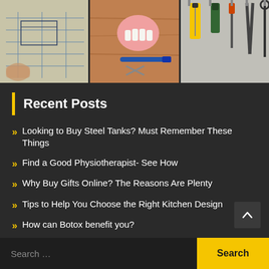[Figure (photo): Three-panel image strip: left panel shows hands drawing blueprints/technical drawings, center panel shows dental tools and tooth model on a wooden surface, right panel shows various tools hanging on a wall.]
Recent Posts
Looking to Buy Steel Tanks? Must Remember These Things
Find a Good Physiotherapist- See How
Why Buy Gifts Online? The Reasons Are Plenty
Tips to Help You Choose the Right Kitchen Design
How can Botox benefit you?